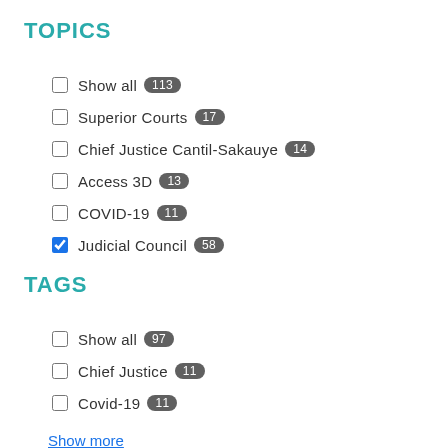TOPICS
Show all 113
Superior Courts 17
Chief Justice Cantil-Sakauye 14
Access 3D 13
COVID-19 11
Judicial Council 58
TAGS
Show all 97
Chief Justice 11
Covid-19 11
Show more